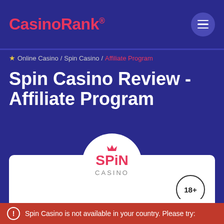CasinoRank®
Online Casino / Spin Casino / Affiliate Program
Spin Casino Review - Affiliate Program
[Figure (logo): Spin Casino logo — red SPIN text with a crown icon above 'i', gray CASINO text below, inside a white circle]
18+
DEPOSIT METHODS
Spin Casino is not available in your country. Please try: